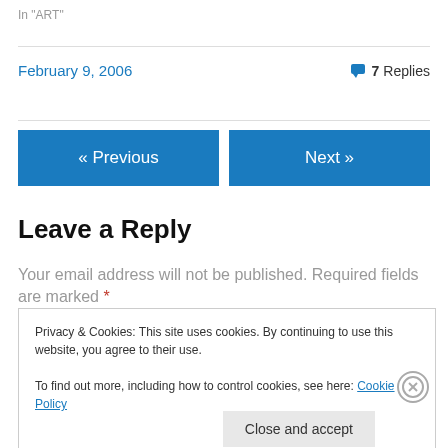In "ART"
February 9, 2006    7 Replies
« Previous
Next »
Leave a Reply
Your email address will not be published. Required fields are marked *
Privacy & Cookies: This site uses cookies. By continuing to use this website, you agree to their use.
To find out more, including how to control cookies, see here: Cookie Policy